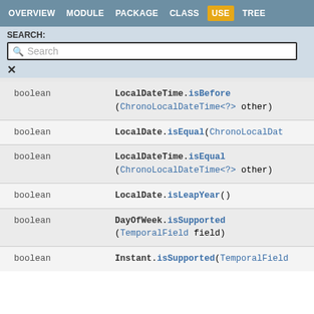OVERVIEW  MODULE  PACKAGE  CLASS  USE  TREE
SEARCH:
Search
| Type | Method |
| --- | --- |
| boolean | LocalDateTime.isBefore(ChronoLocalDateTime<?> other) |
| boolean | LocalDate.isEqual(ChronoLocalDate... |
| boolean | LocalDateTime.isEqual(ChronoLocalDateTime<?> other) |
| boolean | LocalDate.isLeapYear() |
| boolean | DayOfWeek.isSupported(TemporalField field) |
| boolean | Instant.isSupported(TemporalField... |